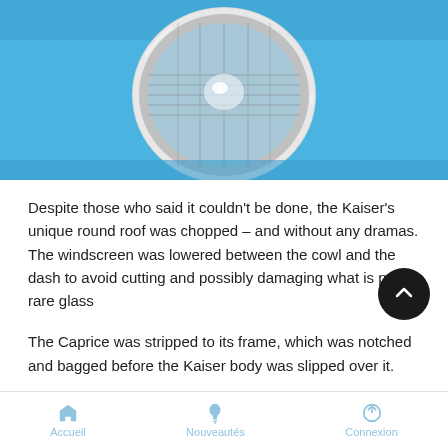[Figure (photo): Close-up photo of a vintage blue car's round chrome headlight against a bright blue body panel.]
Despite those who said it couldn't be done, the Kaiser's unique round roof was chopped – and without any dramas. The windscreen was lowered between the cowl and the dash to avoid cutting and possibly damaging what is pretty rare glass
The Caprice was stripped to its frame, which was notched and bagged before the Kaiser body was slipped over it.
“Some people rip me because it’s a new chassis and engine to me it’s a custom. If I’d worried about what was correct I
Accueil   Nouveautés   Connexion